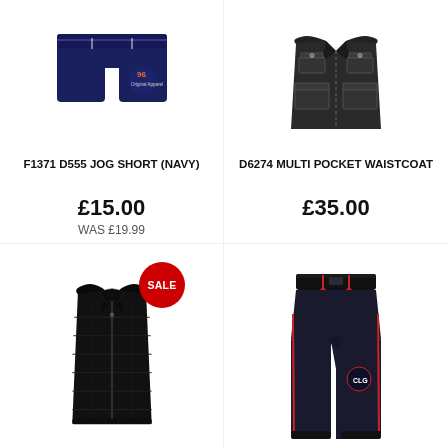[Figure (photo): Navy blue jog shorts with '96' logo printed on the leg]
F1371 D555 JOG SHORT (NAVY)
£15.00
WAS £19.99
[Figure (photo): Black multi-pocket waistcoat with button fastenings and multiple chest pockets]
D6274 MULTI POCKET WAISTCOAT
£35.00
[Figure (photo): Black padded gilet/body warmer with zip front and quilted texture, SALE badge]
[Figure (photo): Navy blue jogger trousers with red drawstring and logo embroidery on leg]